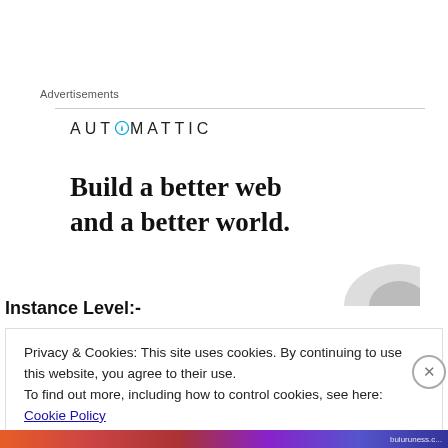Advertisements
[Figure (logo): Automattic logo with compass icon in the letter O, all caps text: AUTOMATTIC]
Build a better web
and a better world.
Instance Level:-
Privacy & Cookies: This site uses cookies. By continuing to use this website, you agree to their use.
To find out more, including how to control cookies, see here: Cookie Policy
Close and accept